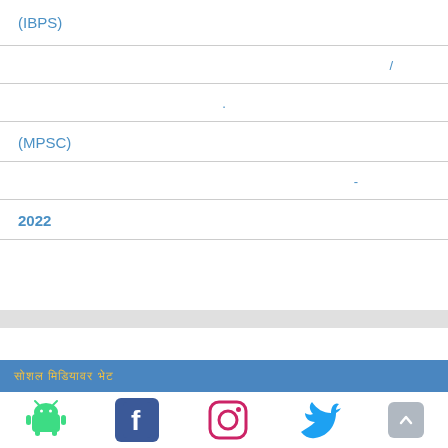(IBPS)
/
.
(MPSC)
-
2022
सोशल मिडियावर भेट
[Figure (logo): Android, Facebook, Instagram, Twitter social media icons and scroll-to-top button]